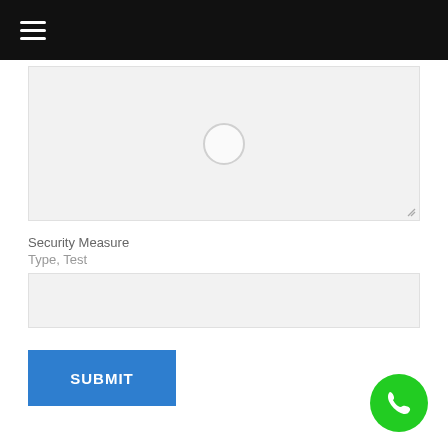[Figure (screenshot): Large empty textarea input field with light gray background and a CAPTCHA-like circle icon in the center and resize handle at bottom-right]
Security Measure
Type, Test
[Figure (screenshot): Empty text input field with light gray background]
[Figure (screenshot): Blue SUBMIT button]
[Figure (other): Green circular phone/call button floating in bottom-right corner]